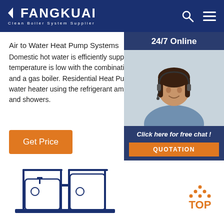FANGKUAI Clean Boiler System Supplier
Air to Water Heat Pump Systems
Domestic hot water is efficiently supplied even when temperature is low with the combination of a heat pump type and a gas boiler. Residential Heat Pump Boiler A domestic hot water heater using the refrigerant ample hot water for baths and showers.
Get Price
[Figure (photo): Customer service representative wearing a headset, smiling, with 24/7 Online label and chat widget overlay]
24/7 Online
Click here for free chat !
QUOTATION
[Figure (illustration): Industrial boiler equipment illustration in blue/navy tones at bottom of page]
[Figure (other): TOP button with orange dot triangle icon]